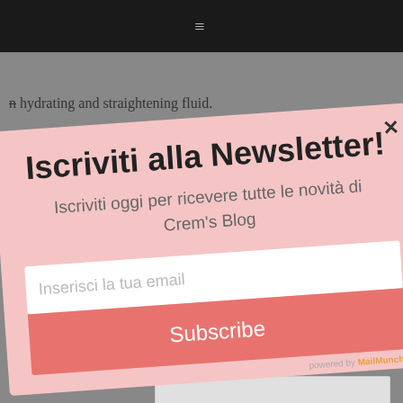≡
hydrating and straightening fluid.
Iscriviti alla Newsletter!
Iscriviti oggi per ricevere tutte le novità di Crem's Blog
Inserisci la tua email
Subscribe
complete pro...
care routine for long, soft shiny and protected air.
powered by MailMunch